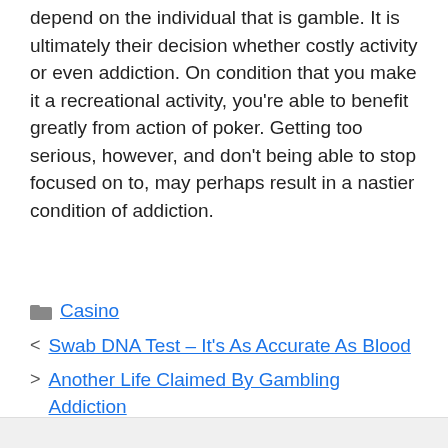depend on the individual that is gamble. It is ultimately their decision whether costly activity or even addiction. On condition that you make it a recreational activity, you're able to benefit greatly from action of poker. Getting too serious, however, and don't being able to stop focused on to, may perhaps result in a nastier condition of addiction.
Casino
< Swab DNA Test – It's As Accurate As Blood
> Another Life Claimed By Gambling Addiction